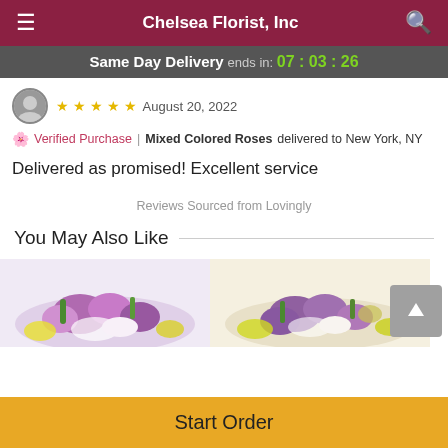Chelsea Florist, Inc
Same Day Delivery ends in: 07 : 03 : 26
August 20, 2022
Verified Purchase | Mixed Colored Roses delivered to New York, NY
Delivered as promised! Excellent service
Reviews Sourced from Lovingly
You May Also Like
[Figure (photo): Two flower arrangement photos side by side at bottom of page]
Start Order